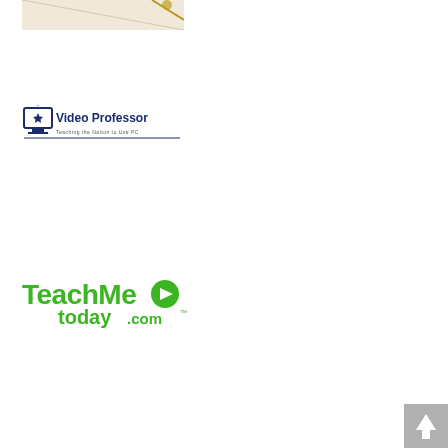[Figure (photo): Partial view of a photo showing a light beige/cream colored surface with what appears to be a decorative object with gold/brass element at top right corner]
[Figure (logo): Video Professor logo - monitor icon with 'Video Professor' text in dark navy blue and tagline below]
[Figure (logo): TeachMeToday.com logo - bold green text 'TeachMe' with a green circle play button icon and 'today.com' in smaller green text with TM mark]
[Figure (other): Gray square button with white upward arrow in bottom right corner of page]